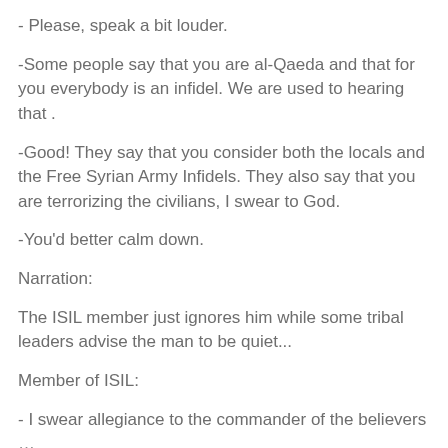- Please, speak a bit louder.
-Some people say that you are al-Qaeda and that for you everybody is an infidel. We are used to hearing that .
-Good! They say that you consider both the locals and the Free Syrian Army Infidels. They also say that you are terrorizing the civilians, I swear to God.
-You'd better calm down.
Narration:
The ISIL member just ignores him while some tribal leaders advise the man to be quiet...
Member of ISIL:
- I swear allegiance to the commander of the believers …
- I swear allegiance to the commander of the believers …